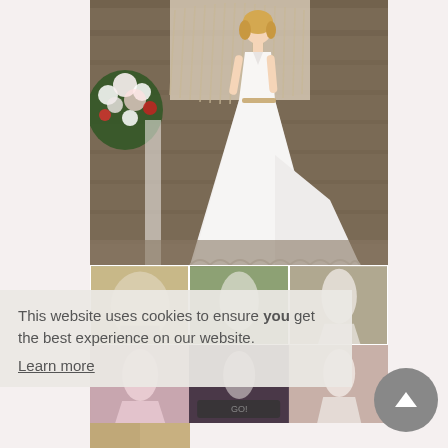[Figure (photo): A woman wearing a white A-line/ballgown wedding dress with lace trim and a long train, posing in a rustic barn setting with floral arrangements and macrame backdrop.]
[Figure (photo): Three thumbnail images showing detail shots of wedding dresses — including satin/lace details, outdoor setting, and a bride silhouette.]
[Figure (photo): Three thumbnail images showing: a pink/blush bridesmaid style gown outdoors, a dark background product shot, and a bridal gown detail.]
[Figure (photo): Partial thumbnail at bottom showing a bride or wedding scene.]
This website uses cookies to ensure you get the best experience on our website.
Learn more